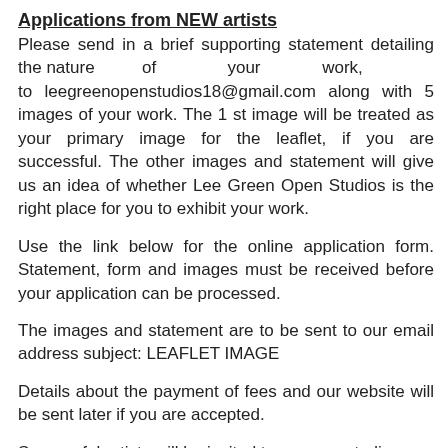Applications from NEW artists
Please send in a brief supporting statement detailing the nature of your work, to leegreenopenstudios18@gmail.com along with 5 images of your work. The 1 st image will be treated as your primary image for the leaflet, if you are successful. The other images and statement will give us an idea of whether Lee Green Open Studios is the right place for you to exhibit your work.
Use the link below for the online application form. Statement, form and images must be received before your application can be processed.
The images and statement are to be sent to our email address subject: LEAFLET IMAGE
Details about the payment of fees and our website will be sent later if you are accepted.
Successful artists will be invited to an open studio...